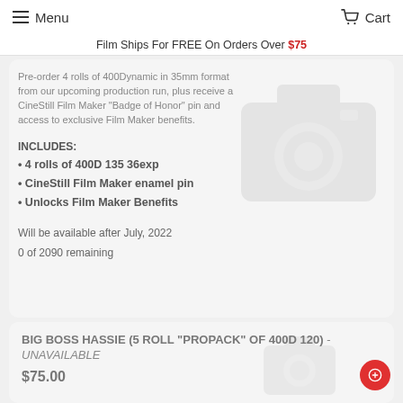Menu  Cart
Film Ships For FREE On Orders Over $75
Pre-order 4 rolls of 400Dynamic in 35mm format from our upcoming production run, plus receive a CineStill Film Maker "Badge of Honor" pin and access to exclusive Film Maker benefits.
INCLUDES:
4 rolls of 400D 135 36exp
CineStill Film Maker enamel pin
Unlocks Film Maker Benefits
Will be available after July, 2022
0 of 2090 remaining
BIG BOSS HASSIE (5 ROLL "PROPACK" OF 400D 120) - UNAVAILABLE
$75.00